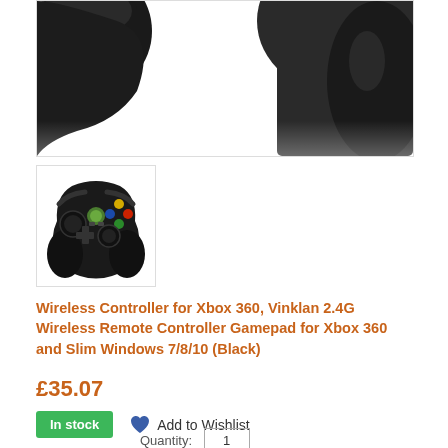[Figure (photo): Partial close-up photo of a black Xbox 360 wireless controller against white background, showing the top/right portion]
[Figure (photo): Thumbnail image of a black Xbox 360 wireless controller (Vinklan) showing full controller with colored ABXY buttons]
Wireless Controller for Xbox 360, Vinklan 2.4G Wireless Remote Controller Gamepad for Xbox 360 and Slim Windows 7/8/10 (Black)
£35.07
In stock
Add to Wishlist
Quantity: 1